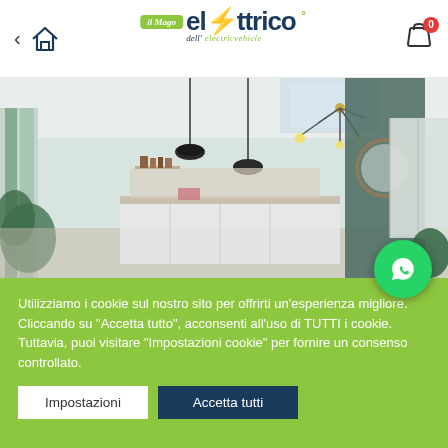il Mago dell'elettrico electricvehicle
[Figure (photo): Interior room photo showing a modern open-plan kitchen and living area with pendant lights, white walls, green accent wall, and plants]
Utilizziamo i cookie sul nostro sito per offrirti un'esperienza migliore. Cliccando su "Accetta tutto", acconsenti all'uso di TUTTI i cookie. Tuttavia, puoi visitare "Impostazioni cookie" per fornire un consenso controllato.
Impostazioni
Accetta tutti